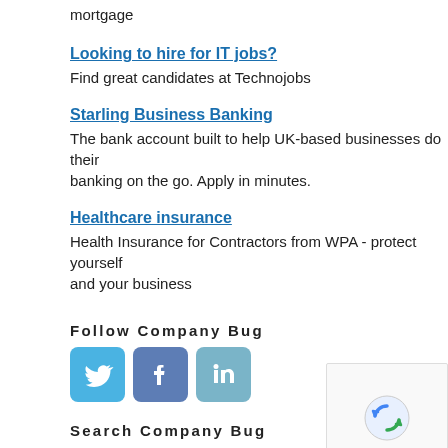mortgage
Looking to hire for IT jobs?
Find great candidates at Technojobs
Starling Business Banking
The bank account built to help UK-based businesses do their banking on the go. Apply in minutes.
Healthcare insurance
Health Insurance for Contractors from WPA - protect yourself and your business
Follow Company Bug
[Figure (other): Social media icons: Twitter (blue bird), Facebook (blue f), LinkedIn (blue in)]
Search Company Bug
[Figure (other): reCAPTCHA privacy widget with rotating arrows logo and Privacy / Terms links]